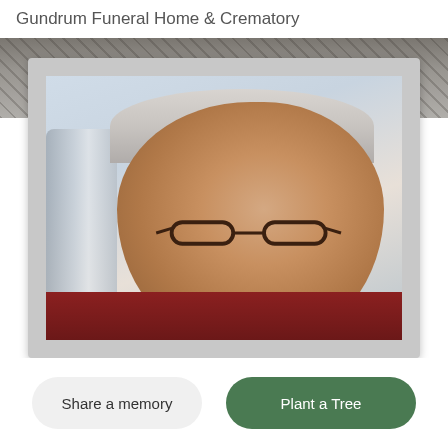Gundrum Funeral Home & Crematory
[Figure (photo): Portrait photo of an elderly man with white hair and glasses, smiling warmly, wearing a red shirt/scarf. Photo is displayed inside a light-colored frame with a gray ornamental background banner above it.]
Share a memory
Plant a Tree